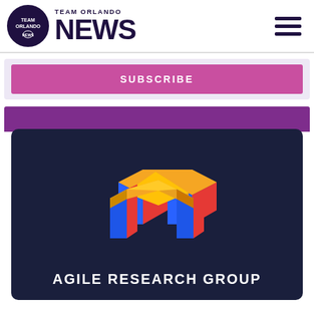Team Orlando NEWS
SUBSCRIBE
[Figure (logo): Agile Research Group logo: a 3D house/arch shape made of orange, blue, and red blocks on dark navy background, with text 'AGILE RESEARCH GROUP' below in white.]